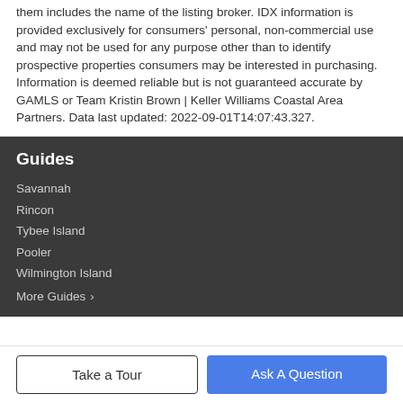them includes the name of the listing broker. IDX information is provided exclusively for consumers' personal, non-commercial use and may not be used for any purpose other than to identify prospective properties consumers may be interested in purchasing. Information is deemed reliable but is not guaranteed accurate by GAMLS or Team Kristin Brown | Keller Williams Coastal Area Partners. Data last updated: 2022-09-01T14:07:43.327.
Guides
Savannah
Rincon
Tybee Island
Pooler
Wilmington Island
More Guides ›